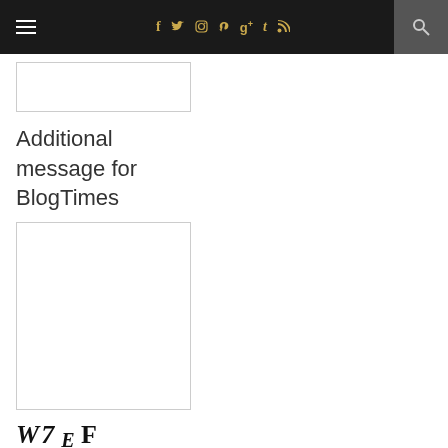Navigation bar with hamburger menu, social icons (f, twitter, instagram, pinterest, google+, tumblr, rss), and search
[Figure (screenshot): Empty text input field with light gray border]
Additional message for BlogTimes
[Figure (screenshot): Empty textarea input field with light gray border]
[Figure (other): CAPTCHA image displaying stylized text: W7 E F]
Please fill in